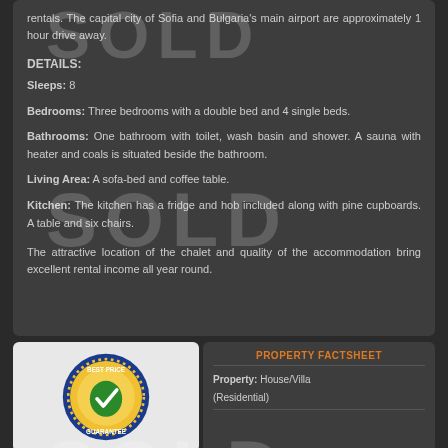rentals. The capital city of Sofia and Bulgaria's main airport are approximately 1 hour drive away.
DETAILS:
Sleeps: 8
Bedrooms: Three bedrooms with a double bed and 4 single beds.
Bathrooms: One bathroom with toilet, wash basin and shower. A sauna with heater and coals is situated beside the bathroom.
Living Area: A sofa-bed and coffee table.
Kitchen: The kitchen has a fridge and hob included along with pine cupboards. A table and six chairs.
The attractive location of the chalet and quality of the accommodation bring excellent rental income all year round.
[Figure (logo): Best Price Guarantee badge - circular badge with blue border, gold/yellow fill, green checkmark, text BEST PRICE GUARANTEE]
PROPERTY FACTSHEET
Property: House/Villa (Residential)